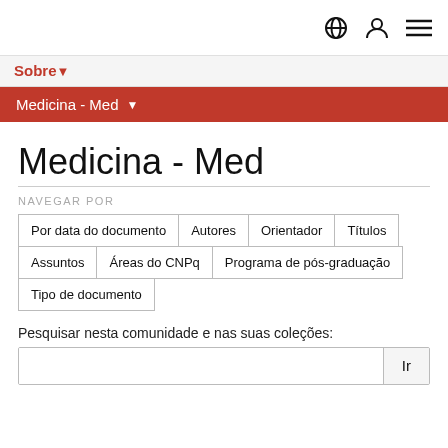Sobre▼
Medicina - Med ▼
Medicina - Med
NAVEGAR POR
Por data do documento
Autores
Orientador
Títulos
Assuntos
Áreas do CNPq
Programa de pós-graduação
Tipo de documento
Pesquisar nesta comunidade e nas suas coleções: